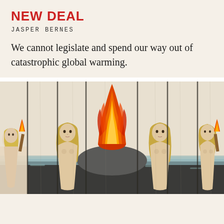NEW DEAL
JASPER BERNES
We cannot legislate and spend our way out of catastrophic global warming.
[Figure (illustration): A folk-art style painting divided into vertical panels by dark lines, depicting nude female figures with long blonde hair holding torches, standing in water with dark reflections, and a large central bonfire or flame erupting from a dark mound against a pale sky.]